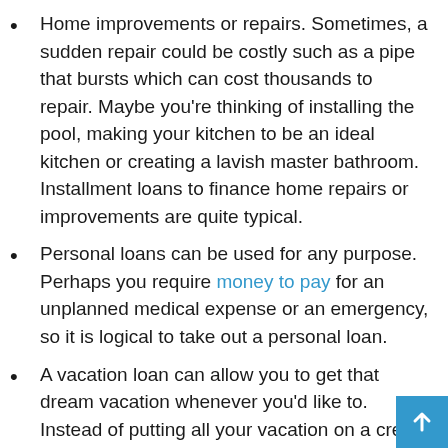Home improvements or repairs. Sometimes, a sudden repair could be costly such as a pipe that bursts which can cost thousands to repair. Maybe you're thinking of installing the pool, making your kitchen to be an ideal kitchen or creating a lavish master bathroom. Installment loans to finance home repairs or improvements are quite typical.
Personal loans can be used for any purpose. Perhaps you require money to pay for an unplanned medical expense or an emergency, so it is logical to take out a personal loan.
A vacation loan can allow you to get that dream vacation whenever you'd like to. Instead of putting all your vacation on a credit line which could have high interest, consider borrowing money for your trip instead.
A down payment for a major purchase such as an automobile or to boost the amount of down payment for a house. This can help you save years of savings on your